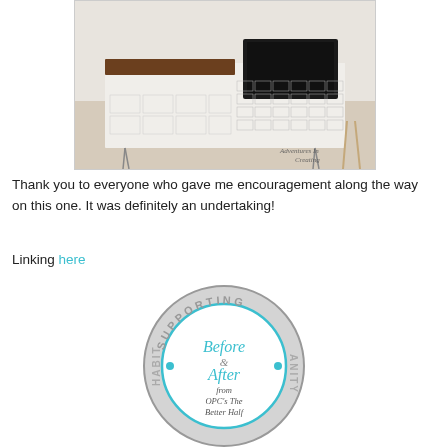[Figure (photo): A repurposed card catalog turned into a TV media console with wooden top and hairpin legs, in a living room. Watermark reads 'Adventures In Creating'.]
Thank you to everyone who gave me encouragement along the way on this one. It was definitely an undertaking!
Linking here
[Figure (logo): Circular badge logo reading 'SUPPORTING' at the top, 'HABIT' and 'ANITY' on sides, with 'Before & After from OPC's The Better Half' in the center in teal text.]